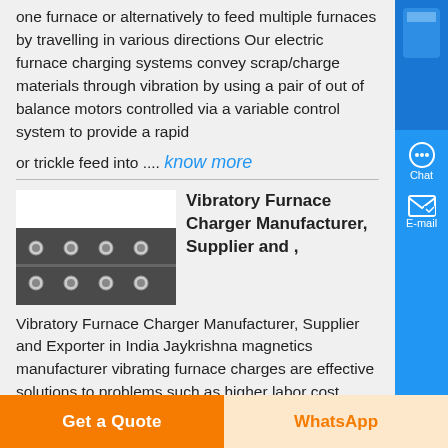one furnace or alternatively to feed multiple furnaces by travelling in various directions Our electric furnace charging systems convey scrap/charge materials through vibration by using a pair of out of balance motors controlled via a variable control system to provide a rapid
or trickle feed into .... know more
[Figure (photo): Photo of vibratory furnace charger equipment with mounting studs visible]
Vibratory Furnace Charger Manufacturer, Supplier and ,
Vibratory Furnace Charger Manufacturer, Supplier and Exporter in India Jaykrishna magnetics manufacturer vibrating furnace charges are effective solutions to problems such as higher labor cost, hazards to fund operators
Get a Quote
WhatsApp